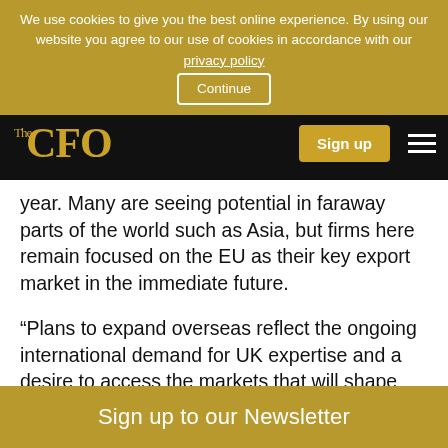We use cookies to give you the best online experience. By using our website you agree to our use of cookies in accordance with our privacy policy | Continue
The CFO | Sign up
year. Many are seeing potential in faraway parts of the world such as Asia, but firms here remain focused on the EU as their key export market in the immediate future.
“Plans to expand overseas reflect the ongoing international demand for UK expertise and a desire to access the markets that will shape the future global economy. This could be testament to the fact that a minority expect the UK economy to contract in the next
Sign up to our Newsletter